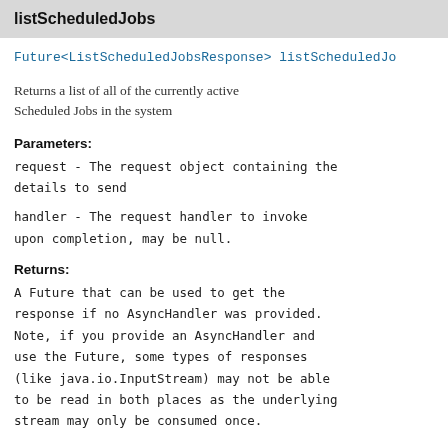listScheduledJobs
Future<ListScheduledJobsResponse> listScheduledJo
Returns a list of all of the currently active Scheduled Jobs in the system
Parameters:
request - The request object containing the details to send
handler - The request handler to invoke upon completion, may be null.
Returns:
A Future that can be used to get the response if no AsyncHandler was provided. Note, if you provide an AsyncHandler and use the Future, some types of responses (like java.io.InputStream) may not be able to be read in both places as the underlying stream may only be consumed once.